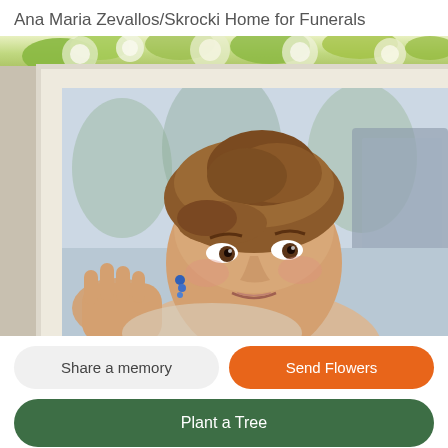Ana Maria Zevallos/Skrocki Home for Funerals
[Figure (photo): Portrait photo of a woman with brown upswept hair, looking at the camera, shown within a white decorative frame. A floral arrangement with white and green flowers is visible in the background at the top.]
Share a memory
Send Flowers
Plant a Tree